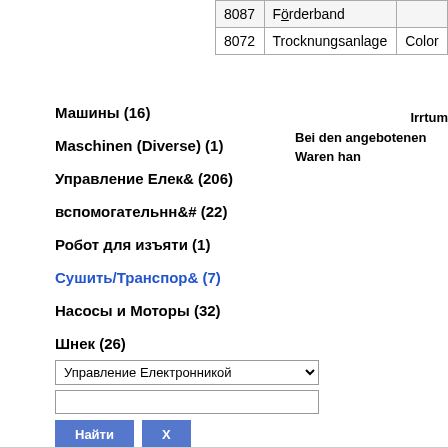|  | Förderband |  |
| --- | --- | --- |
| 8087 | Förderband |  |
| 8072 | Trocknungsanlage | Color |
Машины (16)
Maschinen (Diverse) (1)
Управление Елек& (206)
вспомогательнн&# (22)
Робот для изъяти (1)
Сушить/Транспор& (7)
Насосы и Моторы (32)
Шнек (26)
Остаток (1)
Irrtum
Bei den angebotenen Waren han